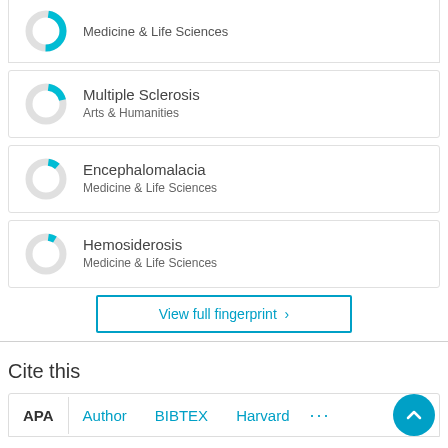[Figure (donut-chart): Small donut chart with cyan/teal segment, partial fill, Medicine & Life Sciences topic]
Medicine & Life Sciences
[Figure (donut-chart): Small donut chart with small cyan segment, Multiple Sclerosis]
Multiple Sclerosis
Arts & Humanities
[Figure (donut-chart): Small donut chart with very small cyan segment, Encephalomalacia]
Encephalomalacia
Medicine & Life Sciences
[Figure (donut-chart): Small donut chart with tiny cyan segment, Hemosiderosis]
Hemosiderosis
Medicine & Life Sciences
View full fingerprint ›
Cite this
APA  Author  BIBTEX  Harvard  ...